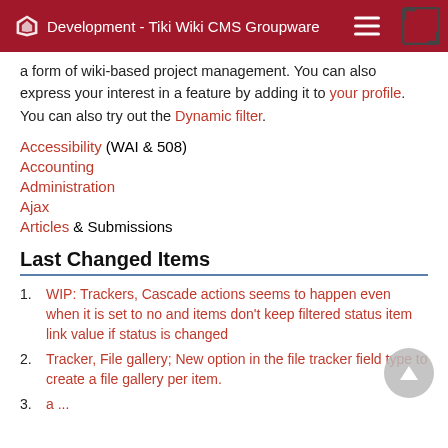Development - Tiki Wiki CMS Groupware
a form of wiki-based project management. You can also express your interest in a feature by adding it to your profile. You can also try out the Dynamic filter.
Accessibility (WAI & 508)
Accounting
Administration
Ajax
Articles & Submissions
Last Changed Items
WIP: Trackers, Cascade actions seems to happen even when it is set to no and items don’t keep filtered status item link value if status is changed
Tracker, File gallery; New option in the file tracker field type to create a file gallery per item.
3. (partially visible)